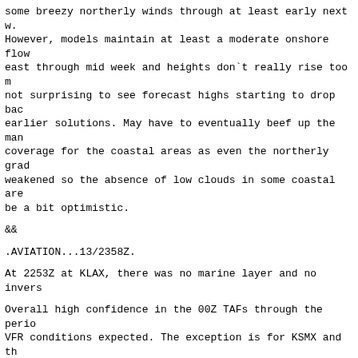some breezy northerly winds through at least early next w. However, models maintain at least a moderate onshore flow east through mid week and heights don`t really rise too m not surprising to see forecast highs starting to drop bac earlier solutions. May have to eventually beef up the man coverage for the coastal areas as even the northerly grad weakened so the absence of low clouds in some coastal are be a bit optimistic.
&&
.AVIATION...13/2358Z.
At 2253Z at KLAX, there was no marine layer and no invers
Overall high confidence in the 00Z TAFs through the perio VFR conditions expected. The exception is for KSMX and th Coastal sites where there is a 20 percent chance of low c mainly between 06Z-09Z for KSMX and from 09Z-15Z at KLAX KLGB. Gusty northerly winds will continue to affect weste Barbara County and the LA and Ventura Mountains through t period. Lgt- mdt LLWS and turbc possible over and near th terrain thru 00Z Friday.
KLAX...High confidence in the 00Z TAF with CAVU conds exp the period. There is a 20 percent chance of low clouds be 09Z-15Z, mostly likely in the LIFR-IFR category.
KBUR...High confidence in the 00Z TAF with CAVU conds exp through the period.